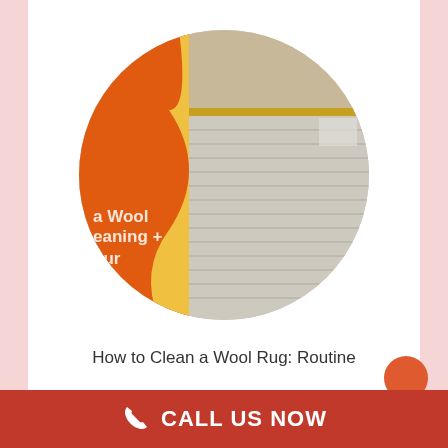[Figure (photo): Circular cropped image showing a wool rug with horizontal texture lines and an orange/yellow branded sign overlay on the left side with partial white text reading 'a Wool', 'eaning +', 'our']
How to Clean a Wool Rug: Routine
CALL US NOW